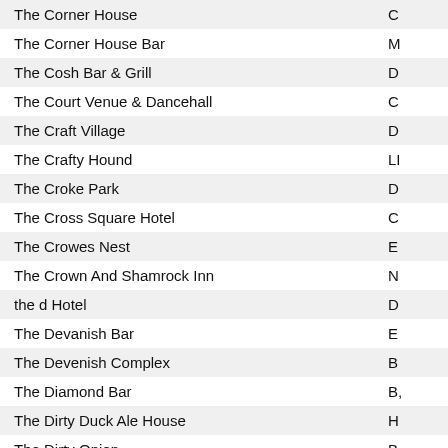| Name | Location |
| --- | --- |
| The Corner House | C |
| The Corner House Bar | M |
| The Cosh Bar & Grill | D |
| The Court Venue & Dancehall | C |
| The Craft Village | D |
| The Crafty Hound | LI |
| The Croke Park | D |
| The Cross Square Hotel | C |
| The Crowes Nest | E |
| The Crown And Shamrock Inn | N |
| the d Hotel | D |
| The Devanish Bar | E |
| The Devenish Complex | B |
| The Diamond Bar | B, |
| The Dirty Duck Ale House | H |
| The Dirty Onion | B |
| The Dirty Onion | B |
| The Doffer | B |